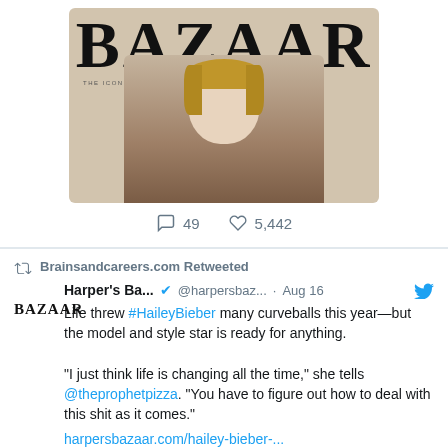[Figure (photo): Harper's Bazaar magazine cover showing a blonde woman in a brown textured top against a beige background, with large BAZAAR text at top and 'THE ICONS ISSUE' subtitle]
49    5,442
Brainsandcareers.com Retweeted
Harper's Ba... @harpersbaz... · Aug 16
Life threw #HaileyBieber many curveballs this year—but the model and style star is ready for anything.

"I just think life is changing all the time," she tells @theprophetpizza. "You have to figure out how to deal with this shit as it comes."
harpersbazaar.com/hailey-bieber-...